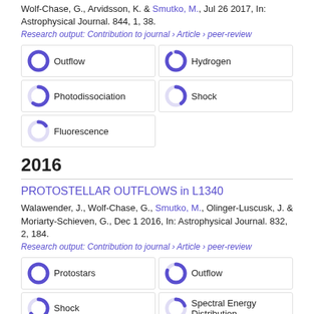Wolf-Chase, G., Arvidsson, K. & Smutko, M., Jul 26 2017, In: Astrophysical Journal. 844, 1, 38.
Research output: Contribution to journal › Article › peer-review
[Figure (infographic): Keyword badges with donut charts: Outflow 100%, Hydrogen 90%, Photodissociation 60%, Shock 40%, Fluorescence 15%]
2016
PROTOSTELLAR OUTFLOWS in L1340
Walawender, J., Wolf-Chase, G., Smutko, M., Olinger-Luscusk, J. & Moriarty-Schieven, G., Dec 1 2016, In: Astrophysical Journal. 832, 2, 184.
Research output: Contribution to journal › Article › peer-review
[Figure (infographic): Keyword badges with donut charts: Protostars 100%, Outflow 80%, Shock 65%, Spectral Energy Distribution 20%]